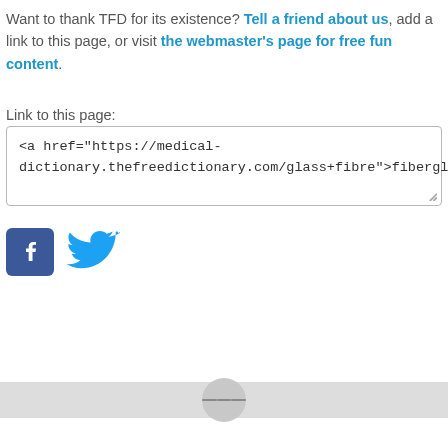Want to thank TFD for its existence? Tell a friend about us, add a link to this page, or visit the webmaster's page for free fun content.
Link to this page:
<a href="https://medical-dictionary.thefreedictionary.com/glass+fibre">fiberglass</a>
[Figure (logo): Facebook and Twitter social media icons]
Navigation/menu bar at bottom of page